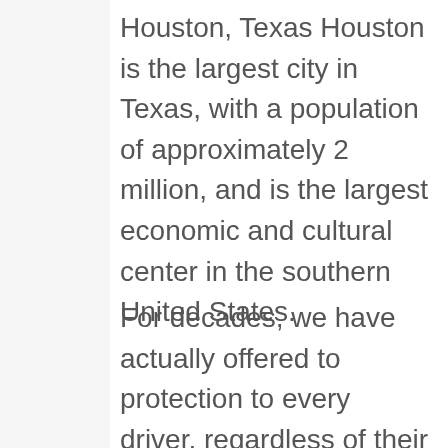Houston, Texas Houston is the largest city in Texas, with a population of approximately 2 million, and is the largest economic and cultural center in the southern United States.
For decades, we have actually offered to protection to every driver, regardless of their driving record or credit, that meets state requirements. If you're trying to find